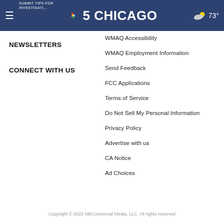SUBMIT TIPS FOR INVESTIGATION | NBC 5 CHICAGO | WMAQ Participation Fee | 73°
WMAQ Accessibility
NEWSLETTERS
WMAQ Employment Information
CONNECT WITH US
Send Feedback
FCC Applications
Terms of Service
Do Not Sell My Personal Information
Privacy Policy
Advertise with us
CA Notice
Ad Choices
Copyright © 2022 NBCUniversal Media, LLC. All rights reserved